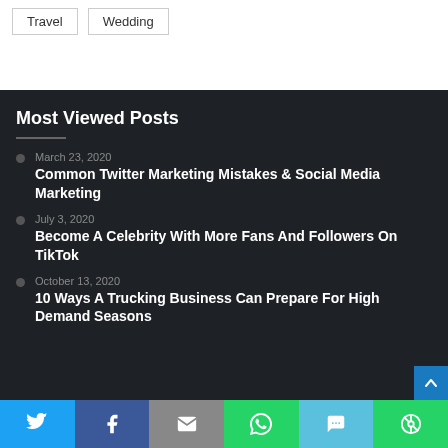Travel
Wedding
Most Viewed Posts
March 23, 2020 — Common Twitter Marketing Mistakes & Social Media Marketing
July 3, 2020 — Become A Celebrity With More Fans And Followers On TikTok
October 13, 2020 — 10 Ways A Trucking Business Can Prepare For High Demand Seasons